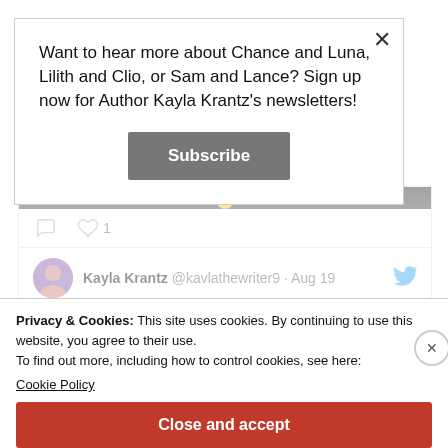Want to hear more about Chance and Luna, Lilith and Clio, or Sam and Lance? Sign up now for Author Kayla Krantz's newsletters!
Subscribe
Kayla Krantz @kavlathewriter9 · Aug 19
Privacy & Cookies: This site uses cookies. By continuing to use this website, you agree to their use.
To find out more, including how to control cookies, see here:
Cookie Policy
Close and accept